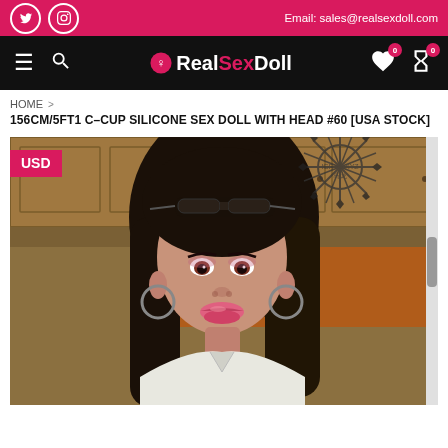Email: sales@realsexdoll.com
RealSexDoll - navigation bar with logo, search, wishlist, cart
HOME > 156CM/5FT1 C-CUP SILICONE SEX DOLL WITH HEAD #60 [USA STOCK]
[Figure (photo): Close-up photo of a realistic silicone sex doll with dark long hair, sunglasses on head, hoop earrings, wearing white outfit, in a kitchen background. USD badge in top-left corner. Watermark/seal in top-right corner.]